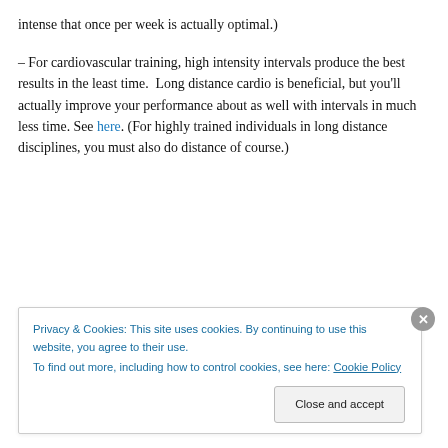intense that once per week is actually optimal.)
– For cardiovascular training, high intensity intervals produce the best results in the least time.  Long distance cardio is beneficial, but you'll actually improve your performance about as well with intervals in much less time. See here. (For highly trained individuals in long distance disciplines, you must also do distance of course.)
Privacy & Cookies: This site uses cookies. By continuing to use this website, you agree to their use.
To find out more, including how to control cookies, see here: Cookie Policy
Close and accept